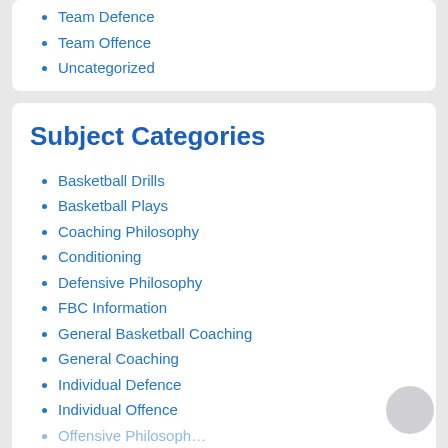Team Defence
Team Offence
Uncategorized
Subject Categories
Basketball Drills
Basketball Plays
Coaching Philosophy
Conditioning
Defensive Philosophy
FBC Information
General Basketball Coaching
General Coaching
Individual Defence
Individual Offence
Offensive Philosophy